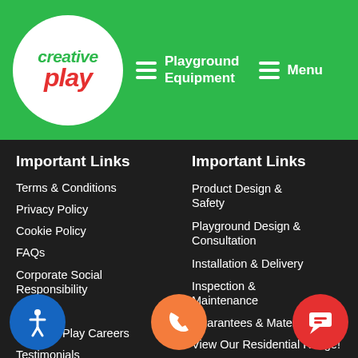Creative Play — Playground Equipment | Menu
Important Links
Terms & Conditions
Privacy Policy
Cookie Policy
FAQs
Corporate Social Responsibility
News
Creative Play Careers
Testimonials
Important Links
Product Design & Safety
Playground Design & Consultation
Installation & Delivery
Inspection & Maintenance
Guarantees & Materials
View Our Residential Range!